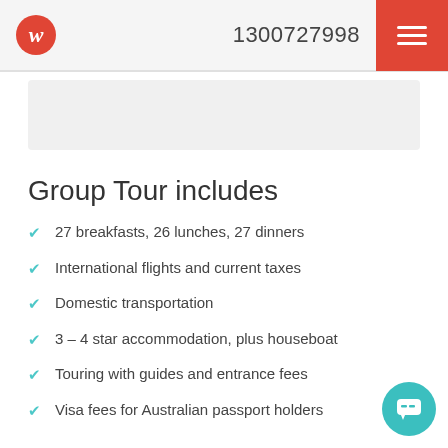w  1300727998
Group Tour includes
27 breakfasts, 26 lunches, 27 dinners
International flights and current taxes
Domestic transportation
3 – 4 star accommodation, plus houseboat
Touring with guides and entrance fees
Visa fees for Australian passport holders